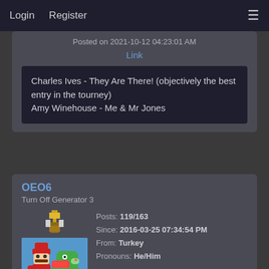Login  Register  ☰
Posted on 2021-10-12 04:23:01 AM
Link
Charles Ives - They Are There! (objectively the best entry in the tourney)
Amy Winehouse - Me & Mr Jones
OEO6
Turn Off Generator 3
Posts: 119/163
Since: 2016-03-25 07:34:54 PM
From: Turkey
Pronouns: He/Him
Last seen: 58 minutes and 11 seconds ago
[Figure (photo): Pixel art avatar showing Mario and Yoshi characters on a blue background]
Posted on 2021-10-12 07:38:25 AM
Link